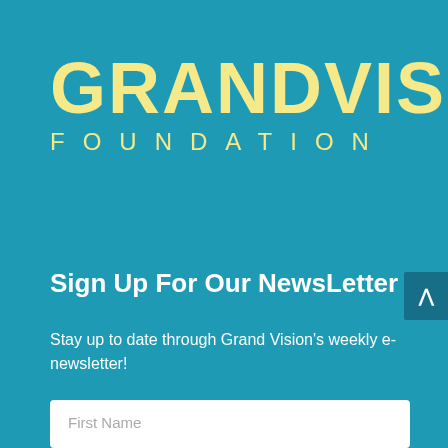[Figure (logo): Grand Vision Foundation logo with large yellow bold text 'GRANDVISION' on first line and spaced yellow text 'FOUNDATION' on second line, on teal background]
Sign Up For Our NewsLetter
Stay up to date through Grand Vision's weekly e-newsletter!
First Name